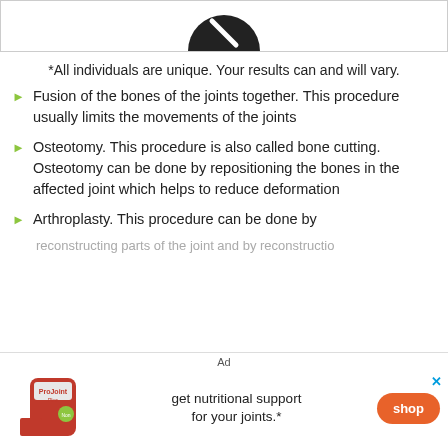[Figure (other): Partial view of a circular dark icon at the top of the page]
*All individuals are unique. Your results can and will vary.
Fusion of the bones of the joints together. This procedure usually limits the movements of the joints
Osteotomy. This procedure is also called bone cutting. Osteotomy can be done by repositioning the bones in the affected joint which helps to reduce deformation
Arthroplasty. This procedure can be done by
Ad
[Figure (photo): Advertisement for ProJoint Plus supplement with bottle image, text 'get nutritional support for your joints.*' and orange shop button]